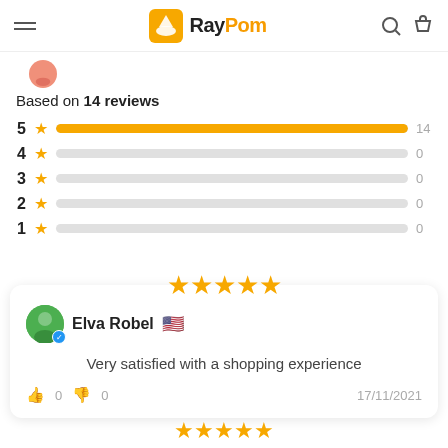RayPom
Based on 14 reviews
[Figure (bar-chart): Star rating distribution]
★★★★★
Elva Robel 🇺🇸
Very satisfied with a shopping experience
👍 0  👎 0  17/11/2021